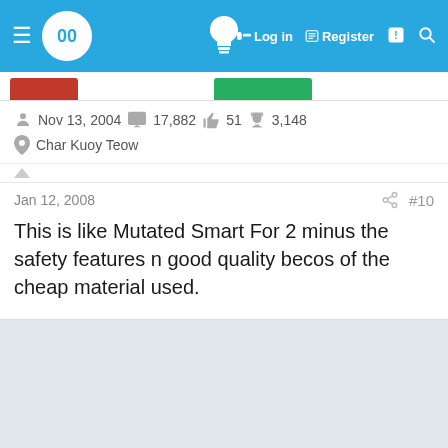≡ 00  [lightbulb icon] [key icon] Log in  [document icon] Register  [notification icon] [search icon]
[Figure (screenshot): Forum navigation bar with hamburger menu, logo circle with '00', lightbulb icon, Log in, Register, notification and search icons on blue background]
Nov 13, 2004  17,882  51  3,148
Char Kuoy Teow
Jan 12, 2008  #10
This is like Mutated Smart For 2 minus the safety features n good quality becos of the cheap material used.